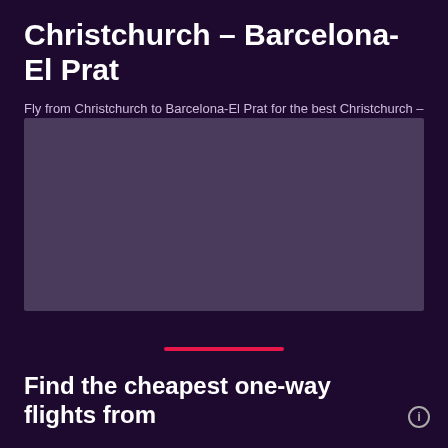Christchurch – Barcelona-El Prat
Fly from Christchurch to Barcelona-El Prat for the best Christchurch – Catalonia flight prices
[Figure (other): Placeholder image area with dark purple background, representing a flight route image widget]
Find the cheapest one-way flights from